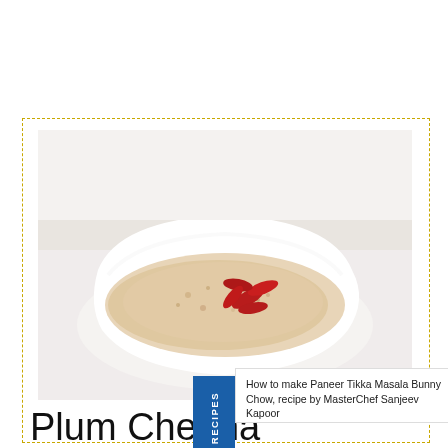[Figure (photo): A white bowl containing a creamy dish garnished with red petals/leaves, on a white background. Watermark text 'www.sanjeevkapoor.com' overlaid on the image. A blue vertical banner labeled 'FEATURED RECIPES' overlaps the left side of the image. A popup overlay shows 'How to make Paneer Tikka Masala Bunny Chow, recipe by MasterChef Sanjeev Kapoor' with a close button.]
Plum Chenna